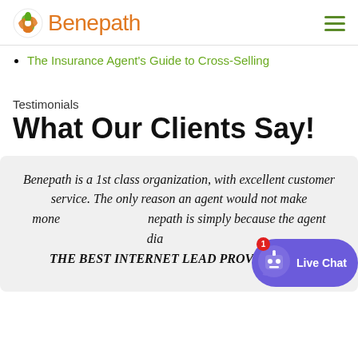Benepath
The Insurance Agent's Guide to Cross-Selling
Testimonials
What Our Clients Say!
Benepath is a 1st class organization, with excellent customer service. The only reason an agent would not make money at Benepath is simply because the agent dia... THE BEST INTERNET LEAD PROVIDER that